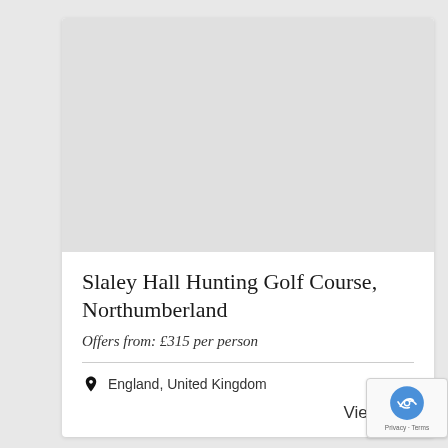[Figure (photo): Placeholder image area (light gray rectangle) for Slaley Hall Hunting Golf Course]
Slaley Hall Hunting Golf Course, Northumberland
Offers from: £315 per person
England, United Kingdom
View More